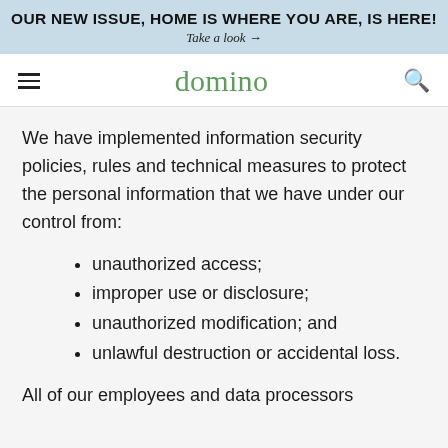OUR NEW ISSUE, HOME IS WHERE YOU ARE, IS HERE!
Take a look →
domino
We have implemented information security policies, rules and technical measures to protect the personal information that we have under our control from:
unauthorized access;
improper use or disclosure;
unauthorized modification; and
unlawful destruction or accidental loss.
All of our employees and data processors